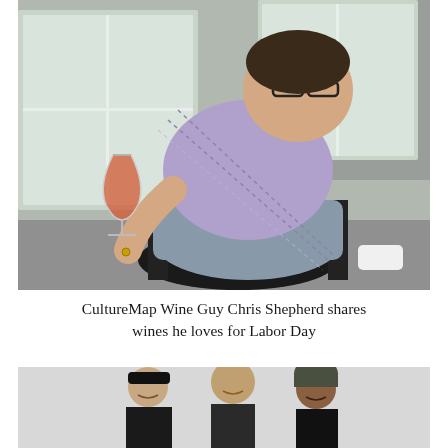[Figure (photo): A heavyset man with glasses sitting in a black wicker chair on a patio, holding up a wine glass with a red/orange drink, wearing a purple checked short-sleeve shirt and gray pants. Background shows windows and brick wall.]
CultureMap Wine Guy Chris Shepherd shares wines he loves for Labor Day
[Figure (photo): Three young men smiling together against a light gray background. The leftmost man wears a black cap, the middle man is tall and stands between them, and the rightmost man wears a dark olive/army green beanie hat.]